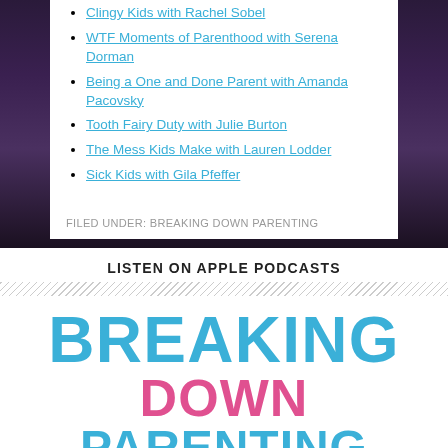Clingy Kids with Rachel Sobel
WTF Moments of Parenthood with Serena Dorman
Being a One and Done Parent with Amanda Pacovsky
Tooth Fairy Duty with Julie Burton
The Mess Kids Make with Lauren Lodder
Sick Kids with Gila Pfeffer
FILED UNDER: BREAKING DOWN PARENTING
LISTEN ON APPLE PODCASTS
[Figure (logo): Breaking Down Parenting podcast logo with large styled text: BREAKING in blue, Down in pink, PARENTING in blue, in a hand-drawn uppercase font]